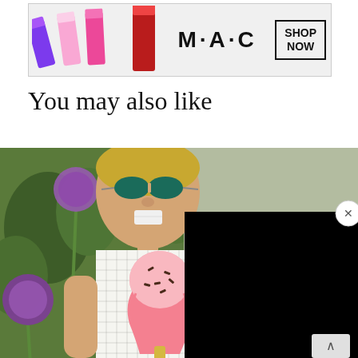[Figure (photo): MAC Cosmetics advertisement banner showing lipsticks in purple, pink, and red colors with 'MAC' logo and 'SHOP NOW' button]
You may also like
[Figure (photo): Child wearing sunglasses and a white grid-pattern dress with ice cream popsicle graphic print, standing outdoors near purple allium flowers. A black overlay/ad covers the right portion of the image.]